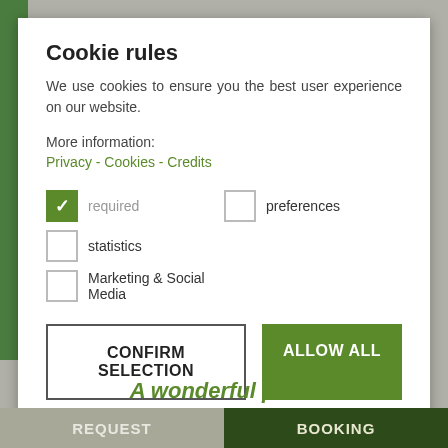Cookie rules
We use cookies to ensure you the best user experience on our website.
More information:
Privacy - Cookies - Credits
required (checked), preferences (unchecked), statistics (unchecked), Marketing & Social Media (unchecked)
CONFIRM SELECTION
ALLOW ALL
A wonderful place
REQUEST   BOOKING